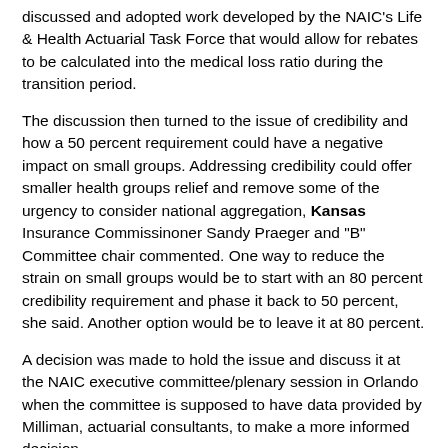discussed and adopted work developed by the NAIC's Life & Health Actuarial Task Force that would allow for rebates to be calculated into the medical loss ratio during the transition period.
The discussion then turned to the issue of credibility and how a 50 percent requirement could have a negative impact on small groups. Addressing credibility could offer smaller health groups relief and remove some of the urgency to consider national aggregation, Kansas Insurance Commissinoner Sandy Praeger and "B" Committee chair commented. One way to reduce the strain on small groups would be to start with an 80 percent credibility requirement and phase it back to 50 percent, she said. Another option would be to leave it at 80 percent.
A decision was made to hold the issue and discuss it at the NAIC executive committee/plenary session in Orlando when the committee is supposed to have data provided by Milliman, actuarial consultants, to make a more informed decision.